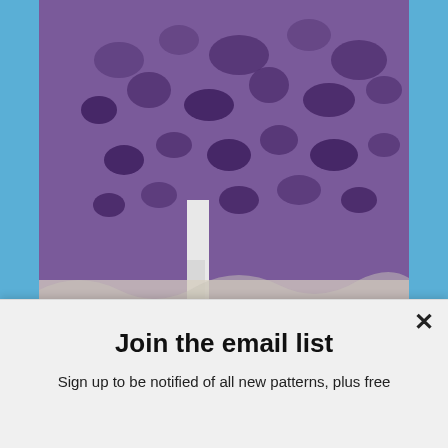[Figure (photo): Close-up photo of a purple lace knitted shawl or fabric draped over a white chair, showing intricate open lacework pattern.]
Posted on June 21, 2012 at 10:20 AM in Giveaways and Contests, New Knitting Patterns, Updates | Permalink | Comments (567)
Join the email list
Sign up to be notified of all new patterns, plus free